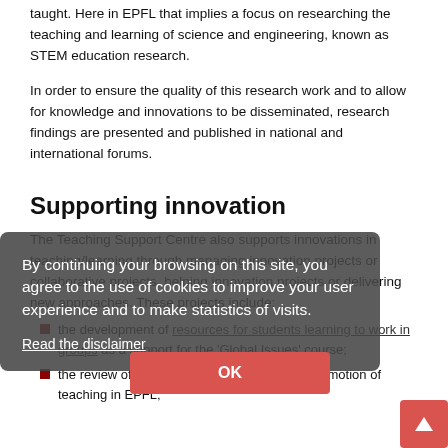taught. Here in EPFL that implies a focus on researching the teaching and learning of science and engineering, known as STEM education research.
In order to ensure the quality of this research work and to allow for knowledge and innovations to be disseminated, research findings are presented and published in national and international forums.
Supporting innovation
The Teaching Support Centre also supports innovations in [teaching/learning] through managing innovation projects or [collaborative] projects, helping innovation projects or delivering [new approaches]. These projects include:
the development of resources for students learning to work in groups as a support for the 'Global Issues' course;
the review of the system for evaluation and promotion of teaching in EPFL;
By continuing your browsing on this site, you agree to the use of cookies to improve your user experience and to make statistics of visits.
Read the disclaimer